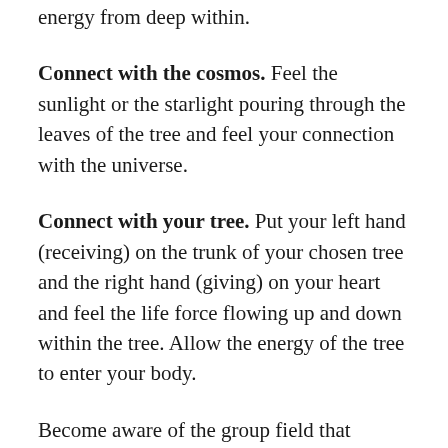energy from deep within.
Connect with the cosmos. Feel the sunlight or the starlight pouring through the leaves of the tree and feel your connection with the universe.
Connect with your tree. Put your left hand (receiving) on the trunk of your chosen tree and the right hand (giving) on your heart and feel the life force flowing up and down within the tree. Allow the energy of the tree to enter your body.
Become aware of the group field that